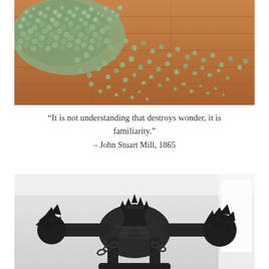[Figure (photo): Overhead view of many small glass marbles or beads scattered across a warm wooden floor, with a dense cluster and some scattered individually.]
“It is not understanding that destroys wonder, it is familiarity.” – John Stuart Mill, 1865
[Figure (photo): Black and white photo of a sculptural artwork made from dark metallic or rubber materials, resembling a mechanical or organic creature-like form with spiky protrusions, positioned in a gallery space.]